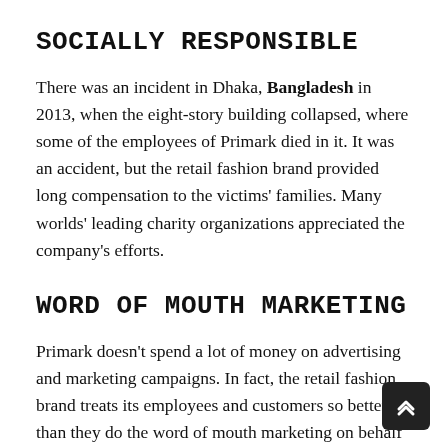SOCIALLY RESPONSIBLE
There was an incident in Dhaka, Bangladesh in 2013, when the eight-story building collapsed, where some of the employees of Primark died in it. It was an accident, but the retail fashion brand provided long compensation to the victims' families. Many worlds' leading charity organizations appreciated the company's efforts.
WORD OF MOUTH MARKETING
Primark doesn't spend a lot of money on advertising and marketing campaigns. In fact, the retail fashion brand treats its employees and customers so better than they do the word of mouth marketing on behalf of the company. It helps the company to reduce costs and provide lower price products to the customers.